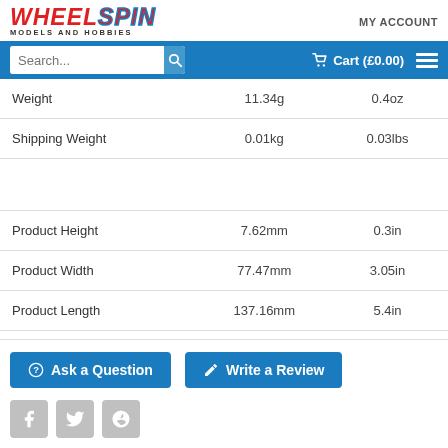WHEELSPIN MODELS AND HOBBIES — MY ACCOUNT
|  |  |  |
| --- | --- | --- |
| Weight | 11.34g | 0.4oz |
| Shipping Weight | 0.01kg | 0.03lbs |
|  |  |  |
| Product Height | 7.62mm | 0.3in |
| Product Width | 77.47mm | 3.05in |
| Product Length | 137.16mm | 5.4in |
Ask a Question
Write a Review